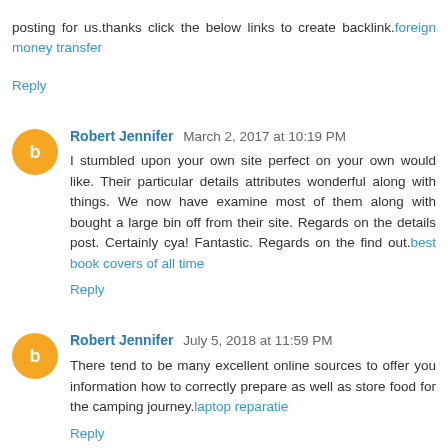posting for us.thanks click the below links to create backlink.foreign money transfer
Reply
Robert Jennifer March 2, 2017 at 10:19 PM
I stumbled upon your own site perfect on your own would like. Their particular details attributes wonderful along with things. We now have examine most of them along with bought a large bin off from their site. Regards on the details post. Certainly cya! Fantastic. Regards on the find out.best book covers of all time
Reply
Robert Jennifer July 5, 2018 at 11:59 PM
There tend to be many excellent online sources to offer you information how to correctly prepare as well as store food for the camping journey.laptop reparatie
Reply